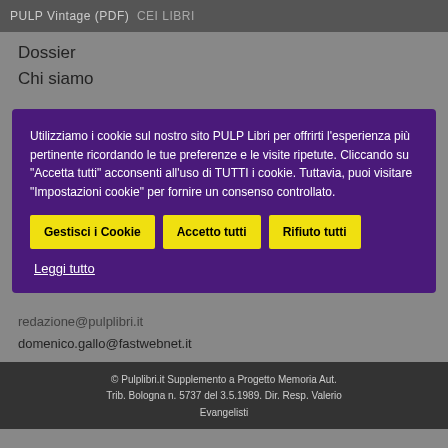PULP Vintage (PDF) CEI LIBRI
Dossier
Chi siamo
Utilizziamo i cookie sul nostro sito PULP Libri per offrirti l'esperienza più pertinente ricordando le tue preferenze e le visite ripetute. Cliccando su "Accetta tutti" acconsenti all'uso di TUTTI i cookie. Tuttavia, puoi visitare "Impostazioni cookie" per fornire un consenso controllato.
Gestisci i Cookie | Accetto tutti | Rifiuto tutti
Leggi tutto
redazione@pulplibri.it
domenico.gallo@fastwebnet.it
© Pulplibri.it Supplemento a Progetto Memoria Aut. Trib. Bologna n. 5737 del 3.5.1989. Dir. Resp. Valerio Evangelisti